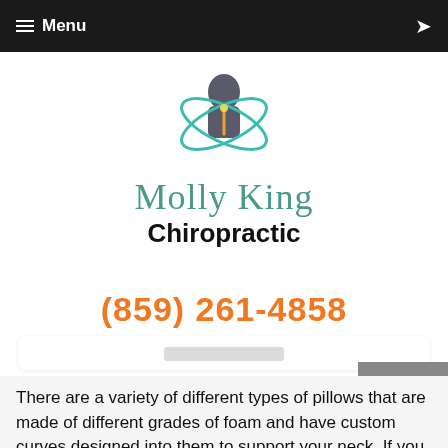≡ Menu
[Figure (logo): Molly King Chiropractic logo — silhouette of a human figure with orbital rings and a glowing spine]
Molly King Chiropractic
(859) 261-4858
There are a variety of different types of pillows that are made of different grades of foam and have custom curves designed into them to support your neck. If you are like most people, you sleep on your pillow for six to nine hours every night. Shouldn't you sleep on something that will help you maintain